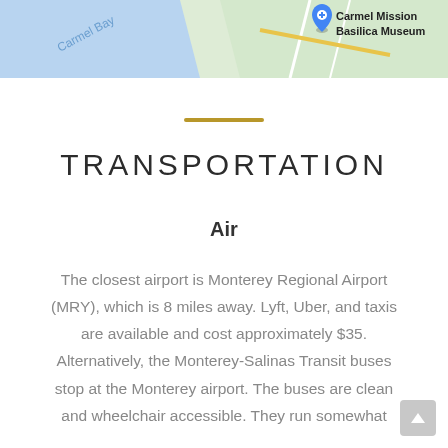[Figure (map): Google Maps screenshot showing Carmel Bay area with Carmel Mission Basilica Museum pin marker visible in upper right, blue water area on left labeled Carmel Bay, green land area on right.]
TRANSPORTATION
Air
The closest airport is Monterey Regional Airport (MRY), which is 8 miles away. Lyft, Uber, and taxis are available and cost approximately $35. Alternatively, the Monterey-Salinas Transit buses stop at the Monterey airport. The buses are clean and wheelchair accessible. They run somewhat